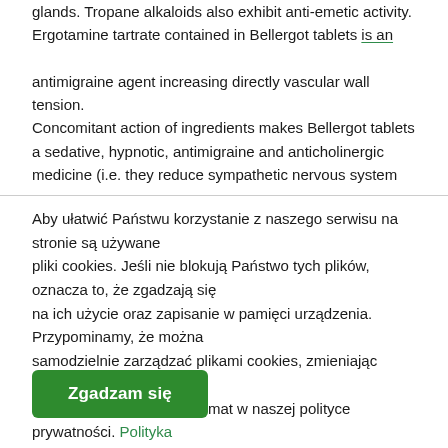glands. Tropane alkaloids also exhibit anti-emetic activity. Ergotamine tartrate contained in Bellergot tablets is an antimigraine agent increasing directly vascular wall tension. Concomitant action of ingredients makes Bellergot tablets a sedative, hypnotic, antimigraine and anticholinergic medicine (i.e. they reduce sympathetic nervous system
Aby ułatwić Państwu korzystanie z naszego serwisu na stronie są używane pliki cookies. Jeśli nie blokują Państwo tych plików, oznacza to, że zgadzają się na ich użycie oraz zapisanie w pamięci urządzenia. Przypominamy, że można samodzielnie zarządzać plikami cookies, zmieniając ustawienia przeglądarki. Więcej informacji na ten temat w naszej polityce prywatności. Polityka prywatności.
Zgadzam się